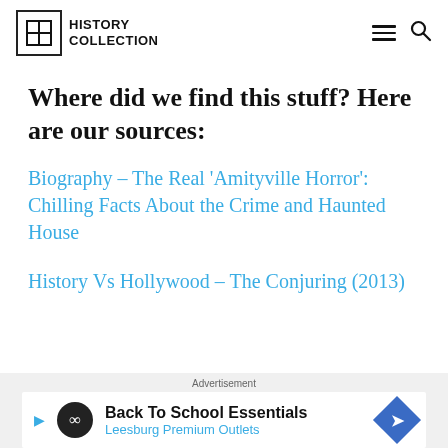History Collection
Where did we find this stuff? Here are our sources:
Biography – The Real 'Amityville Horror': Chilling Facts About the Crime and Haunted House
History Vs Hollywood – The Conjuring (2013)
Advertisement
Back To School Essentials Leesburg Premium Outlets